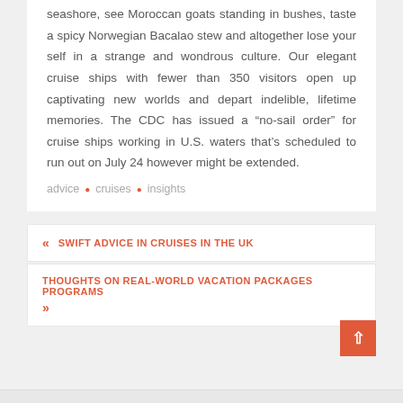seashore, see Moroccan goats standing in bushes, taste a spicy Norwegian Bacalao stew and altogether lose your self in a strange and wondrous culture. Our elegant cruise ships with fewer than 350 visitors open up captivating new worlds and depart indelible, lifetime memories. The CDC has issued a “no-sail order” for cruise ships working in U.S. waters that’s scheduled to run out on July 24 however might be extended.
advice • cruises • insights
« SWIFT ADVICE IN CRUISES IN THE UK
THOUGHTS ON REAL-WORLD VACATION PACKAGES PROGRAMS »